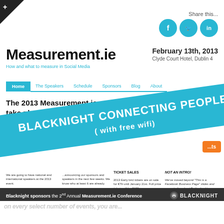[Figure (screenshot): Screenshot of Measurement.ie website with social sharing icons (Facebook, Twitter, LinkedIn), site title, event date, navigation bar, event description text, a blue diagonal banner overlay reading 'BLACKNIGHT CONNECTING PEOPLE (with free wifi)', ticket sales and content columns, a dark footer bar with Blacknight sponsorship text, and a partially visible bottom strip.]
Share this...
Measurement.ie
February 13th, 2013
Clyde Court Hotel, Dublin 4
How and what to measure in Social Media
Home   The Speakers   Schedule   Sponsors   Blog   About
The 2013 Measurement.ie event will take place on February... Clyde Co...
BLACKNIGHT CONNECTING PEOPLE
( with free wifi)
TICKET SALES
2013 Early bird tickets are on sale for €79 until January 21st. Full price tickets will be €137.
NOT AN INTRO!
We've moved beyond "This is a Facebook Business Page" slides and case studies about Twitter hashtags. Nothing wrong with that but there are plenty of talks on these areas now. Let's be bolder. Some talks will be technical, all will be practical. It's all about numbers (hint is in the name of this site).
We are going to have national and international speakers at the 2013 event.
...announcing our sponsors and speakers in the next few weeks. We know who at least 6 are already.
If you work in marketing or communications for a company or organisation then you'll learn how to properly measure social media if you come along. If you are employing people to look...
Blacknight sponsors the 2nd Annual Measurement.ie Conference   BLACKNIGHT
on every select number of events, you are...